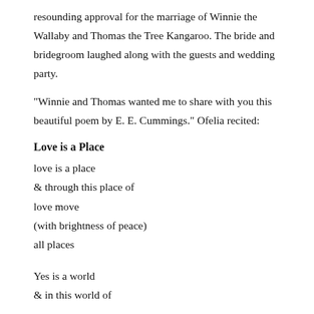resounding approval for the marriage of Winnie the Wallaby and Thomas the Tree Kangaroo. The bride and bridegroom laughed along with the guests and wedding party.
"Winnie and Thomas wanted me to share with you this beautiful poem by E. E. Cummings." Ofelia recited:
Love is a Place
love is a place
& through this place of
love move
(with brightness of peace)
all places
Yes is a world
& in this world of